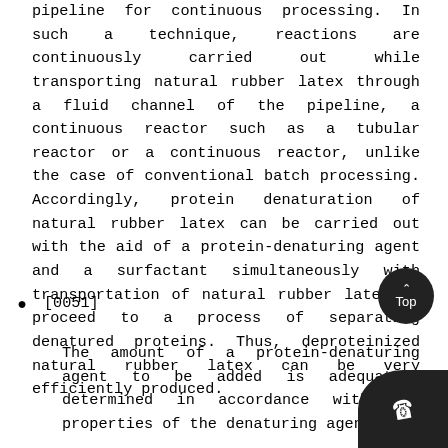pipeline for continuous processing. In such a technique, reactions are continuously carried out while transporting natural rubber latex through a fluid channel of the pipeline, a continuous reactor such as a tubular reactor or a continuous reactor, unlike the case of conventional batch processing. Accordingly, protein denaturation of natural rubber latex can be carried out with the aid of a protein-denaturing agent and a surfactant simultaneously with transportation of natural rubber latex to proceed to a process of separating denatured proteins. Thus, deproteinized natural rubber latex can be very efficiently produced.
[0051]
The amount of a protein-denaturing agent to be added is adequately determined in accordance with the properties of the denaturing agent